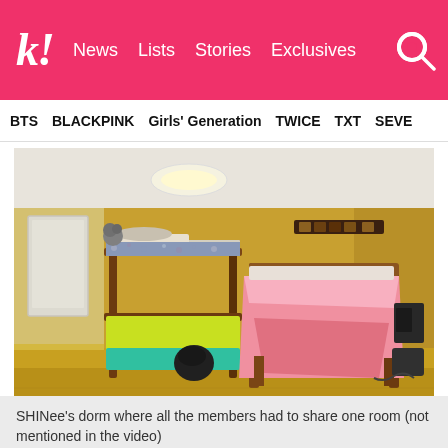k! News Lists Stories Exclusives
BTS BLACKPINK Girls' Generation TWICE TXT SEVE
[Figure (photo): Photo of SHINee's dorm room showing bunk beds and a larger bed with pink/yellow bedding in a room with yellow/ochre walls and ceiling light]
SHINee's dorm where all the members had to share one room (not mentioned in the video)